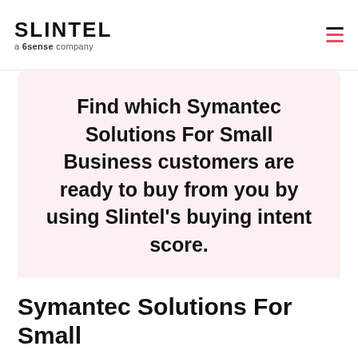SLINTEL a 6sense company
Find which Symantec Solutions For Small Business customers are ready to buy from you by using Slintel's buying intent score.
Get a demo   Know More
Symantec Solutions For Small